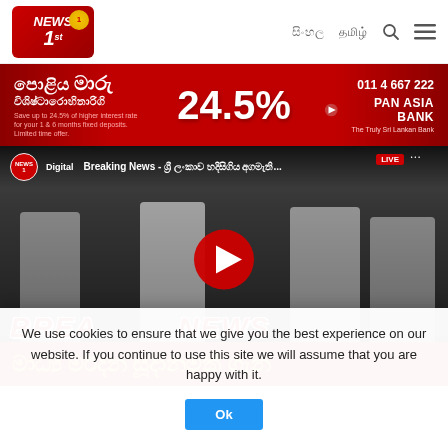[Figure (logo): News 1st logo - red background with NEWS 1st text and gold badge]
සිංහල   தமிழ் 🔍 ☰
[Figure (photo): Pan Asia Bank advertisement banner showing 24.5% interest rate promotional offer]
[Figure (screenshot): YouTube video embed: Breaking News - Sinhala text, showing politicians in white attire, with YouTube play button overlay and BREAKING NEWS text in red, Sinhala subtitle in yellow on red bar]
We use cookies to ensure that we give you the best experience on our website. If you continue to use this site we will assume that you are happy with it.
Ok